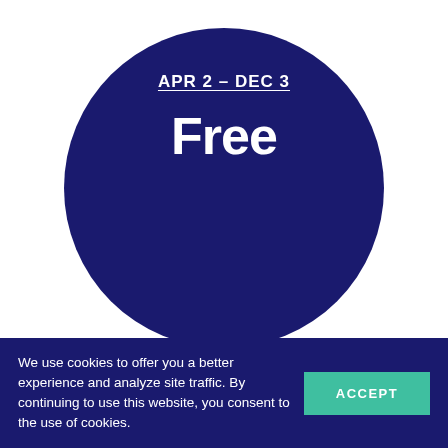events
APR 2 – DEC 3
Free
We use cookies to offer you a better experience and analyze site traffic. By continuing to use this website, you consent to the use of cookies.
ACCEPT